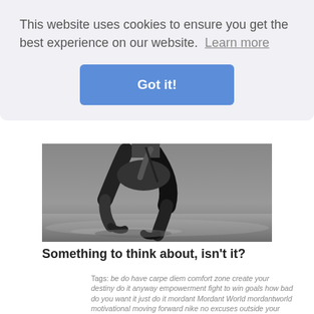[Figure (photo): Partial top of black and white photo showing feet/shoes of a runner]
This website uses cookies to ensure you get the best experience on our website. Learn more
Got it!
[Figure (photo): Black and white photo of a runner's legs in motion, lunging forward on sandy/wet ground]
Something to think about, isn't it?
Tags: be do have carpe diem comfort zone create your destiny do it anyway empowerment fight to win goals how bad do you want it just do it mordant Mordant World mordantworld motivational moving forward nike no excuses outside your comfort zone overcoming adversity r mordant mahon riki robinson self respect success success freak success freaks time is a thief time is the dream killer what's your excuse yesterday you said